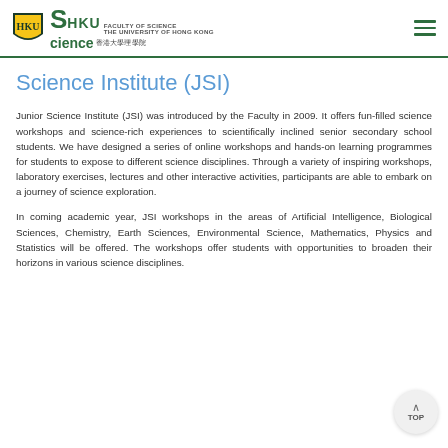HKU Science – Faculty of Science, The University of Hong Kong 香港大學理學院
Science Institute (JSI)
Junior Science Institute (JSI) was introduced by the Faculty in 2009. It offers fun-filled science workshops and science-rich experiences to scientifically inclined senior secondary school students. We have designed a series of online workshops and hands-on learning programmes for students to expose to different science disciplines. Through a variety of inspiring workshops, laboratory exercises, lectures and other interactive activities, participants are able to embark on a journey of science exploration.
In coming academic year, JSI workshops in the areas of Artificial Intelligence, Biological Sciences, Chemistry, Earth Sciences, Environmental Science, Mathematics, Physics and Statistics will be offered. The workshops offer students with opportunities to broaden their horizons in various science disciplines.